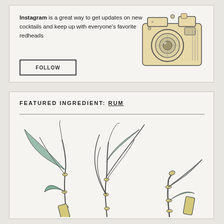Instagram is a great way to get updates on new cocktails and keep up with everyone's favorite redheads
FOLLOW
[Figure (illustration): Hand-drawn sketch illustration of a vintage SLR camera with lens detail]
FEATURED INGREDIENT: RUM
[Figure (illustration): Hand-drawn illustration of sugarcane stalks with leaves in teal/mint and tan colors]